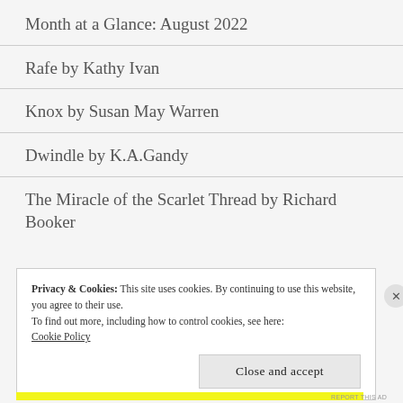Month at a Glance: August 2022
Rafe by Kathy Ivan
Knox by Susan May Warren
Dwindle by K.A.Gandy
The Miracle of the Scarlet Thread by Richard Booker
Privacy & Cookies: This site uses cookies. By continuing to use this website, you agree to their use.
To find out more, including how to control cookies, see here: Cookie Policy
Close and accept